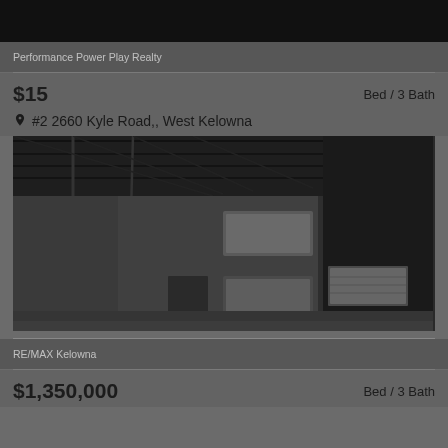[Figure (photo): Dark/black top strip representing top portion of a property listing image]
Performance Power Play Realty
$15
Bed / 3 Bath
#2 2660 Kyle Road,, West Kelowna
[Figure (photo): Interior of a warehouse/commercial building with exposed steel roof trusses, concrete walls, and large windows]
RE/MAX Kelowna
$1,350,000
Bed / 3 Bath